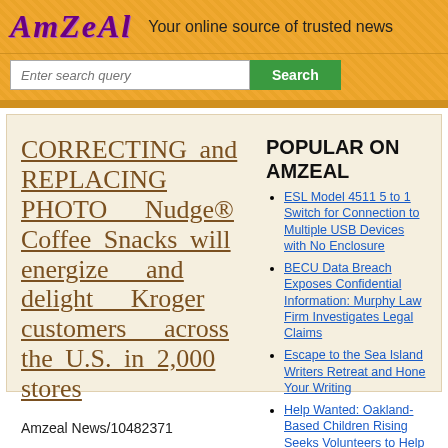AMZEAL — Your online source of trusted news
CORRECTING and REPLACING PHOTO Nudge® Coffee Snacks will energize and delight Kroger customers across the U.S. in 2,000 stores
Amzeal News/10482371
POPULAR ON AMZEAL
ESL Model 4511 5 to 1 Switch for Connection to Multiple USB Devices with No Enclosure
BECU Data Breach Exposes Confidential Information: Murphy Law Firm Investigates Legal Claims
Escape to the Sea Island Writers Retreat and Hone Your Writing
Help Wanted: Oakland-Based Children Rising Seeks Volunteers to Help Students Overcome